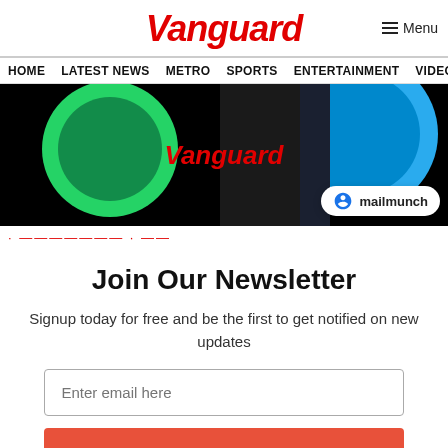Vanguard
HOME  LATEST NEWS  METRO  SPORTS  ENTERTAINMENT  VIDEOS
[Figure (screenshot): Vanguard newsletter subscription banner with WhatsApp icon and mailmunch badge]
· - - - - - - - - · - -
Join Our Newsletter
Signup today for free and be the first to get notified on new updates
Enter email here